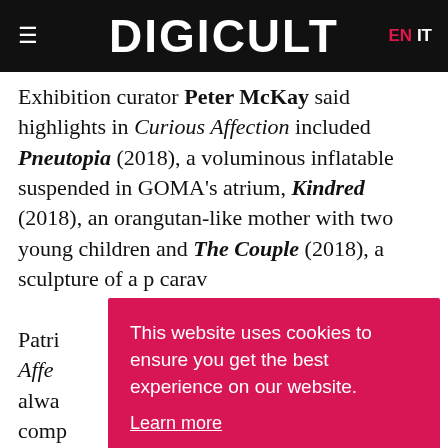DIGICULT  EN  IT
Exhibition curator Peter McKay said highlights in Curious Affection included Pneutopia (2018), a voluminous inflatable suspended in GOMA's atrium, Kindred (2018), an orangutan-like mother with two young children and The Couple (2018), a sculpture of a [partially obscured] carav[partially obscured]
Patri[partially obscured] Affe[partially obscured] alwa[partially obscured] comp[partially obscured] McKay said. The opening program for the exhibition
This website uses cookies to ensure you get the best experience on our website. Learn more  Got it